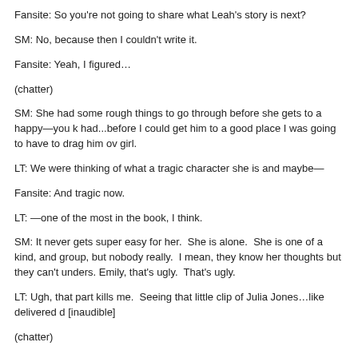Fansite: So you're not going to share what Leah's story is next?
SM: No, because then I couldn't write it.
Fansite: Yeah, I figured…
(chatter)
SM: She had some rough things to go through before she gets to a happy—you k had...before I could get him to a good place I was going to have to drag him ov girl.
LT: We were thinking of what a tragic character she is and maybe—
Fansite: And tragic now.
LT: —one of the most in the book, I think.
SM: It never gets super easy for her.  She is alone.  She is one of a kind, and group, but nobody really.  I mean, they know her thoughts but they can't unders. Emily, that's ugly.  That's ugly.
LT: Ugh, that part kills me.  Seeing that little clip of Julia Jones…like delivered d [inaudible]
(chatter)